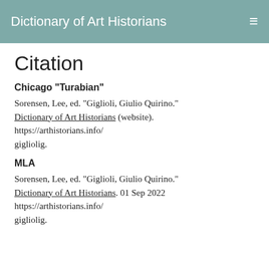Dictionary of Art Historians
Citation
Chicago "Turabian"
Sorensen, Lee, ed. "Giglioli, Giulio Quirino." Dictionary of Art Historians (website). https://arthistorians.info/ gigliolig.
MLA
Sorensen, Lee, ed. "Giglioli, Giulio Quirino." Dictionary of Art Historians. 01 Sep 2022 https://arthistorians.info/ gigliolig.